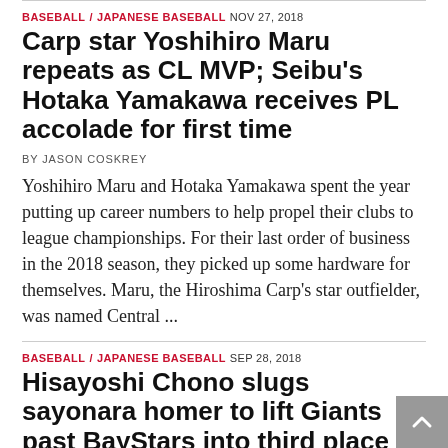BASEBALL / JAPANESE BASEBALL  NOV 27, 2018
Carp star Yoshihiro Maru repeats as CL MVP; Seibu's Hotaka Yamakawa receives PL accolade for first time
BY JASON COSKREY
Yoshihiro Maru and Hotaka Yamakawa spent the year putting up career numbers to help propel their clubs to league championships. For their last order of business in the 2018 season, they picked up some hardware for themselves. Maru, the Hiroshima Carp's star outfielder, was named Central ...
BASEBALL / JAPANESE BASEBALL  SEP 28, 2018
Hisayoshi Chono slugs sayonara homer to lift Giants past BayStars into third place in CL